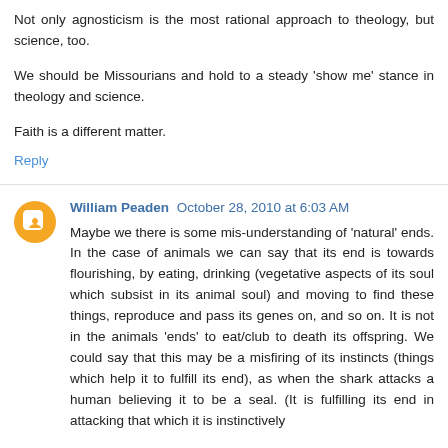Not only agnosticism is the most rational approach to theology, but science, too.
We should be Missourians and hold to a steady 'show me' stance in theology and science.
Faith is a different matter.
Reply
William Peaden October 28, 2010 at 6:03 AM
Maybe we there is some mis-understanding of 'natural' ends. In the case of animals we can say that its end is towards flourishing, by eating, drinking (vegetative aspects of its soul which subsist in its animal soul) and moving to find these things, reproduce and pass its genes on, and so on. It is not in the animals 'ends' to eat/club to death its offspring. We could say that this may be a misfiring of its instincts (things which help it to fulfill its end), as when the shark attacks a human believing it to be a seal. (It is fulfilling its end in attacking that which it is instinctively